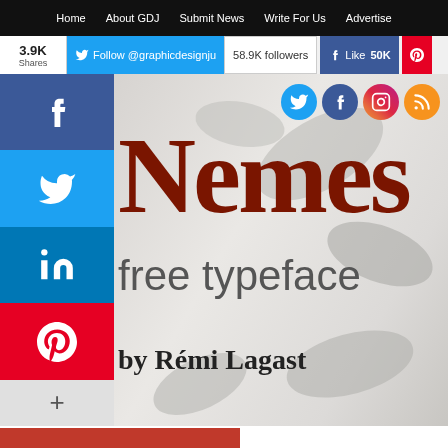Home  About GDJ  Submit News  Write For Us  Advertise
3.9K Shares  Follow @graphicdesignju  58.9K followers  Like 50K
[Figure (screenshot): Social media share sidebar with Facebook, Twitter, LinkedIn, Pinterest buttons and a + more button]
[Figure (illustration): Large decorative text reading 'Nemes' (Nemesis) in dark red/brown color with free typeface label and by Rémi Lagast credit, social media icons top right (Twitter, Facebook, Instagram, RSS), on a blurred light grey background with leaf shapes]
Nemes
free typeface
by Rémi Lagast